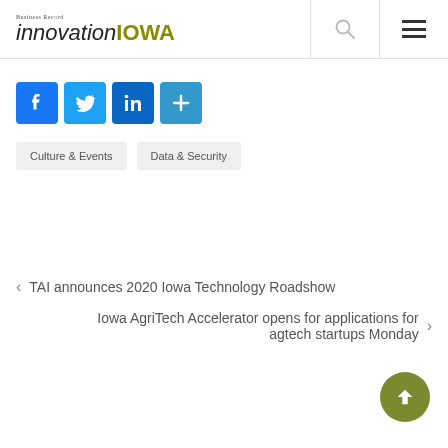Business Record innovationIOWA
[Figure (screenshot): Social media share icons: Facebook (blue), Twitter (blue), LinkedIn (blue), Add/Share (teal)]
Culture & Events
Data & Security
< TAI announces 2020 Iowa Technology Roadshow
Iowa AgriTech Accelerator opens for applications for agtech startups Monday >